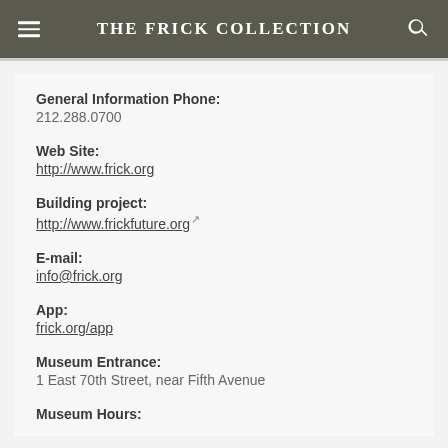THE FRICK COLLECTION
General Information Phone:
212.288.0700
Web Site:
http://www.frick.org
Building project:
http://www.frickfuture.org
E-mail:
info@frick.org
App:
frick.org/app
Museum Entrance:
1 East 70th Street, near Fifth Avenue
Museum Hours: